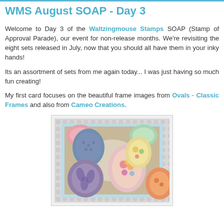WMS August SOAP - Day 3
Welcome to Day 3 of the Waltzingmouse Stamps SOAP (Stamp of Approval Parade), our event for non-release months. We're revisiting the eight sets released in July, now that you should all have them in your inky hands!
Its an assortment of sets from me again today... I was just having so much fun creating!
My first card focuses on the beautiful frame images from Ovals - Classic Frames and also from Cameo Creations.
[Figure (photo): A handmade craft card featuring colorful oval frame images on a patterned background with a light blue border, displayed on a hexagonal dot background.]